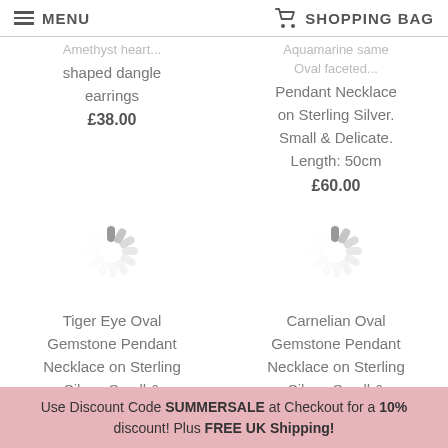MENU | SHOPPING BAG
shaped dangle earrings
£38.00
Pendant Necklace on Sterling Silver. Small & Delicate. Length: 50cm
£60.00
[Figure (other): Loading spinner icon (grey)]
[Figure (other): Loading spinner icon (grey)]
Tiger Eye Oval Gemstone Pendant Necklace on Sterling Silver. Small & Delicate. Length:
Carnelian Oval Gemstone Pendant Necklace on Sterling Silver. Small & Delicate. Length:
Use Discount Code SUMMERSALE at Checkout for a 10% discount! Plus FREE UK Shipping!